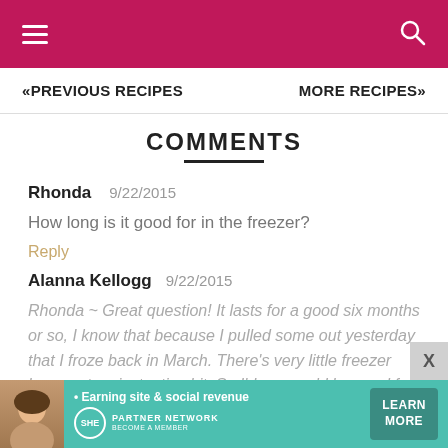≡  [hamburger menu]   [search icon]
«PREVIOUS RECIPES    MORE RECIPES»
COMMENTS
Rhonda   9/22/2015
How long is it good for in the freezer?
Reply
Alanna Kellogg   9/22/2015
Rhonda ~ Great question! It lasts for a good six months or so, I know that because I pulled some out yesterday that I froze back in March. There's very little freezer burn on top, just a tiny bit. So I'd say you'd be good for a year, based on that. I tend to stock up over the summer, then it gets used mostly
[Figure (infographic): Advertisement banner for SHE Partner Network with photo of a woman, text 'Earning site & social revenue', SHE logo, PARTNER NETWORK, BECOME A MEMBER, and LEARN MORE button]